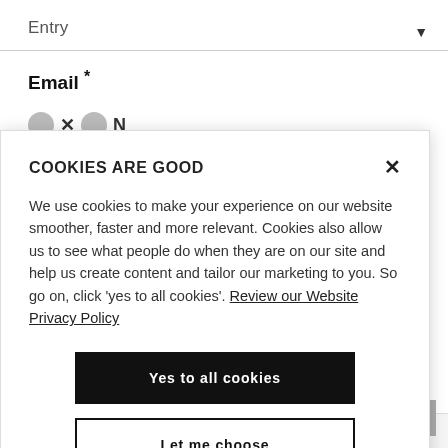Entry
Email *
[Figure (screenshot): Cookie consent modal dialog with title 'COOKIES ARE GOOD', body text about cookies, a close X button, a black 'Yes to all cookies' button, and a white outlined 'Let me choose' button.]
* At Northumbria we are strongly committed to protecting the